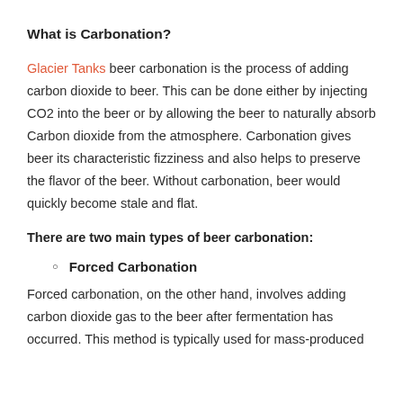What is Carbonation?
Glacier Tanks beer carbonation is the process of adding carbon dioxide to beer. This can be done either by injecting CO2 into the beer or by allowing the beer to naturally absorb Carbon dioxide from the atmosphere. Carbonation gives beer its characteristic fizziness and also helps to preserve the flavor of the beer. Without carbonation, beer would quickly become stale and flat.
There are two main types of beer carbonation:
Forced Carbonation
Forced carbonation, on the other hand, involves adding carbon dioxide gas to the beer after fermentation has occurred. This method is typically used for mass-produced